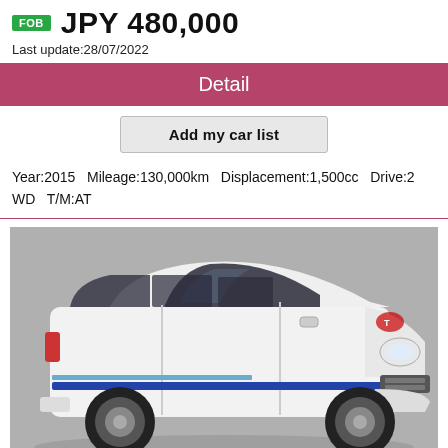FOB JPY 480,000
Last update:28/07/2022
Detail
Add my car list
Year:2015   Mileage:130,000km   Displacement:1,500cc   Drive:2WD   T/M:AT
[Figure (photo): White Toyota Probox station wagon with blue stripe, viewed from front-left angle in a showroom with grey background.]